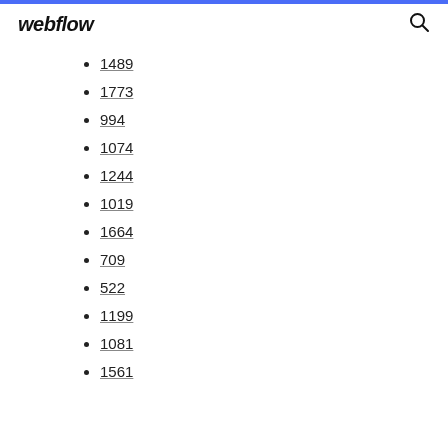webflow
1489
1773
994
1074
1244
1019
1664
709
522
1199
1081
1561